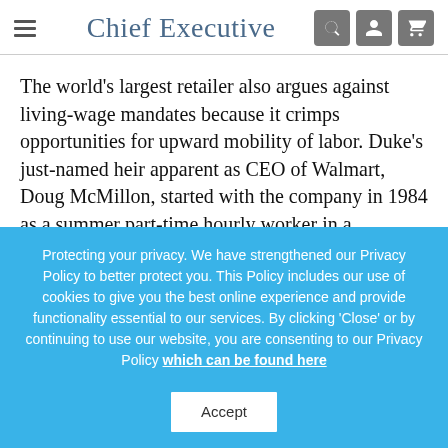Chief Executive
The world's largest retailer also argues against living-wage mandates because it crimps opportunities for upward mobility of labor. Duke's just-named heir apparent as CEO of Walmart, Doug McMillon, started with the company in 1984 as a summer part-time hourly worker in a distribution center.
Protecting your privacy. We have strengthened our Privacy Policy to better protect you. This Policy includes our use of cookies to give you the best online experience and provide functionality essential to our services. By clicking 'Close' or by continuing to use our website, you are consenting to our Privacy Policy which can be found here